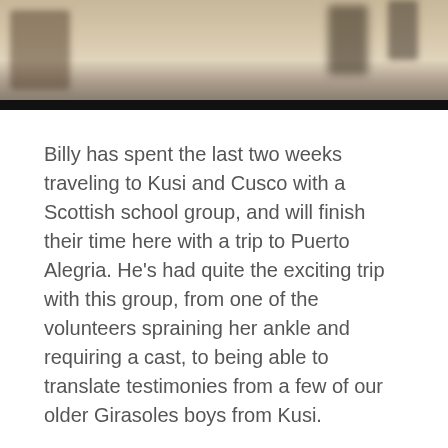[Figure (photo): Blurred photo of figures/people at the top of the page, dark bar at bottom of image]
Billy has spent the last two weeks traveling to Kusi and Cusco with a Scottish school group, and will finish their time here with a trip to Puerto Alegria. He's had quite the exciting trip with this group, from one of the volunteers spraining her ankle and requiring a cast, to being able to translate testimonies from a few of our older Girasoles boys from Kusi.
Last night, I returned from spending the week in the jungle at Puerto Alegria with a group of volunteers from North and South Carolina. The last time I was at the home was November 2012 and it wasn't a very long visit, so I was anxious to return and see the familiar faces of the boys living at the